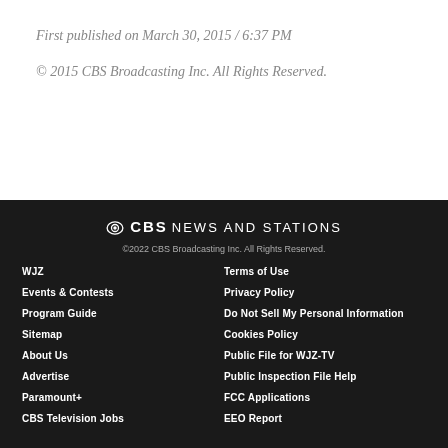First published on March 30, 2015 / 6:37 PM
© 2015 CBS Broadcasting Inc. All Rights Reserved.
CBS NEWS AND STATIONS
©2022 CBS Broadcasting Inc. All Rights Reserved.
WJZ
Events & Contests
Program Guide
Sitemap
About Us
Advertise
Paramount+
CBS Television Jobs
Terms of Use
Privacy Policy
Do Not Sell My Personal Information
Cookies Policy
Public File for WJZ-TV
Public Inspection File Help
FCC Applications
EEO Report